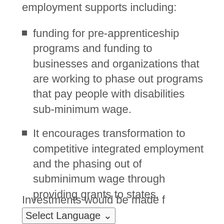The act includes disability employment supports including:
funding for pre-apprenticeship programs and funding to businesses and organizations that are working to phase out programs that pay people with disabilities sub-minimum wage.
It encourages transformation to competitive integrated employment and the phasing out of subminimum wage through providing grants to states.
Investments would be made f [Select Language]